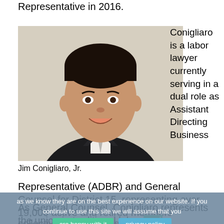Representative in 2016.
[Figure (photo): Professional headshot photo of Jim Conigliaro, Jr., a man in a dark pinstripe suit and gray tie, smiling, against a light background.]
Conigliaro is a labor lawyer currently serving in a dual role as Assistant Directing Business
Jim Conigliaro, Jr.
Representative (ADBR) and General Counsel for District 15, representing over 19,000 active and retired members throughout the northeast.
As General Counsel, Conigliaro represents the union in traditional labor and management relations, collective bargaining, grievance